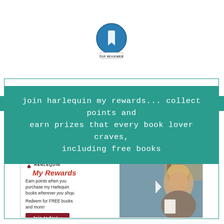[Figure (logo): Top Reviewer badge — circular blue/teal badge with a leaf/bookmark icon and stars, labeled TOP REVIEWER]
join harlequin my rewards... collect points and earn prizes that every book lover craves, including free books
[Figure (infographic): Harlequin My Rewards advertisement showing logo, text 'Earn points when you purchase my Harlequin books wherever you shop. Redeem for FREE books and more!' with a Join today! button and a photo of a smiling woman holding books]